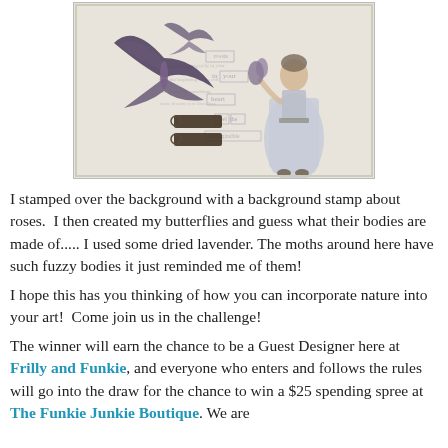[Figure (photo): A decorative handmade craft card featuring a vintage-style woman figure in a white dress, butterflies made with dried lavender, black key charms, and stamped background text about roses and the heart.]
I stamped over the background with a background stamp about roses.  I then created my butterflies and guess what their bodies are made of..... I used some dried lavender. The moths around here have such fuzzy bodies it just reminded me of them!
I hope this has you thinking of how you can incorporate nature into your art!  Come join us in the challenge!
The winner will earn the chance to be a Guest Designer here at Frilly and Funkie, and everyone who enters and follows the rules will go into the draw for the chance to win a $25 spending spree at The Funkie Junkie Boutique. We are